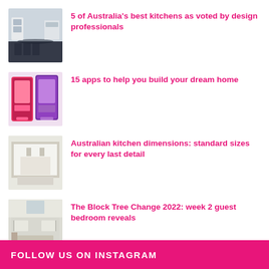5 of Australia's best kitchens as voted by design professionals
15 apps to help you build your dream home
Australian kitchen dimensions: standard sizes for every last detail
The Block Tree Change 2022: week 2 guest bedroom reveals
FOLLOW US ON INSTAGRAM